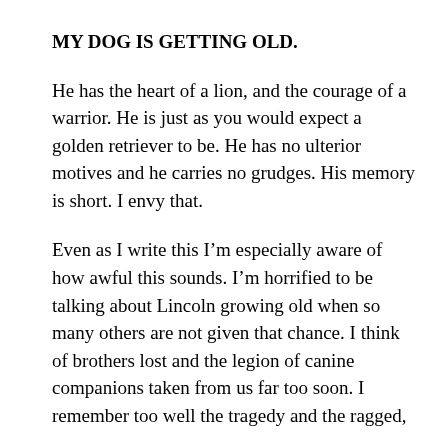MY DOG IS GETTING OLD.
He has the heart of a lion, and the courage of a warrior. He is just as you would expect a golden retriever to be. He has no ulterior motives and he carries no grudges. His memory is short. I envy that.
Even as I write this I’m especially aware of how awful this sounds. I’m horrified to be talking about Lincoln growing old when so many others are not given that chance. I think of brothers lost and the legion of canine companions taken from us far too soon. I remember too well the tragedy and the ragged,